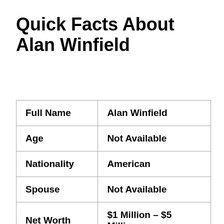Quick Facts About Alan Winfield
| Full Name | Alan Winfield |
| Age | Not Available |
| Nationality | American |
| Spouse | Not Available |
| Net Worth | $1 Million – $5 Million |